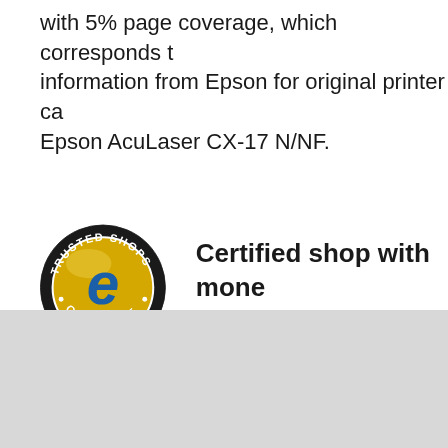with 5% page coverage, which corresponds to information from Epson for original printer cartridges for Epson AcuLaser CX-17 N/NF.
[Figure (logo): Trusted Shops Guarantee badge: circular black border with gold inner circle, blue stylized 'e' in center, text 'TRUSTED SHOPS' along top arc and 'GUARANTEE' along bottom arc]
Certified shop with money-back guarantee.
Sitemap • Online Support • Ebay ratings • Imprint • Terms & Conditions • Consumer notes • Data security • Banking connection • What is PayPal? •